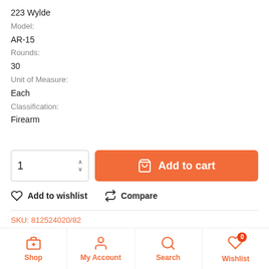223 Wylde
Model:
AR-15
Rounds:
30
Unit of Measure:
Each
Classification:
Firearm
Add to cart
Add to wishlist
Compare
SKU: 812524020/82
Shop  My Account  Search  Wishlist